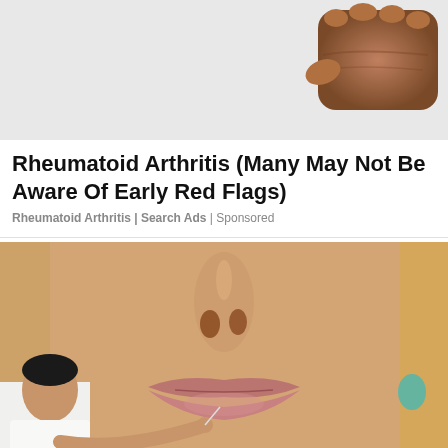[Figure (photo): Close-up of a fist on a light gray background, positioned in the upper right corner]
Rheumatoid Arthritis (Many May Not Be Aware Of Early Red Flags)
Rheumatoid Arthritis | Search Ads | Sponsored
[Figure (photo): Close-up photo of a woman's face focusing on lips and nose; a man in white appears to be working near her lips; a small white box with a down chevron is in the lower left]
[Figure (screenshot): Bottom bar showing a black circular logo with infinity-like symbol, a green checkmark with 'In-store shopping' text, and a blue navigation diamond icon on the right; ad labels (play icon and X) on the lower left]